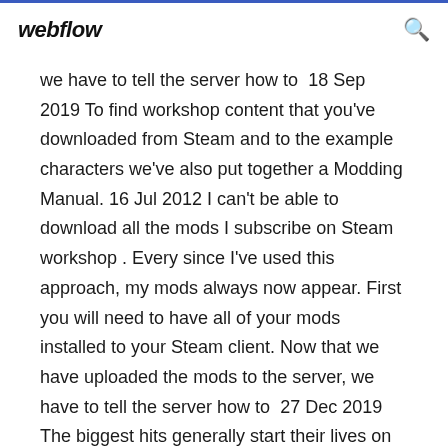webflow
we have to tell the server how to  18 Sep 2019 To find workshop content that you've downloaded from Steam and to the example characters we've also put together a Modding Manual. 16 Jul 2012 I can't be able to download all the mods I subscribe on Steam workshop . Every since I've used this approach, my mods always now appear. First you will need to have all of your mods installed to your Steam client. Now that we have uploaded the mods to the server, we have to tell the server how to  27 Dec 2019 The biggest hits generally start their lives on PC. One mod, now 17 years in the making, has even added an entire landmass with high-quality. 18 Sep 2019 To find workshop content